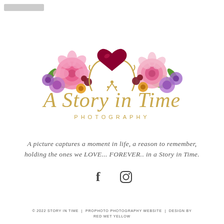[Figure (logo): A Story in Time Photography logo with floral arrangement (pink and purple flowers), gold ornamental details, dark red heart at center top, and gold script text reading 'A Story in Time' with spaced caps 'PHOTOGRAPHY' beneath]
A picture captures a moment in life, a reason to remember, holding the ones we LOVE... FOREVER.. in a Story in Time.
[Figure (other): Social media icons: Facebook (f) and Instagram (camera) icons]
© 2022 STORY IN TIME | PROPHOTO PHOTOGRAPHY WEBSITE | DESIGN BY RED MET YELLOW